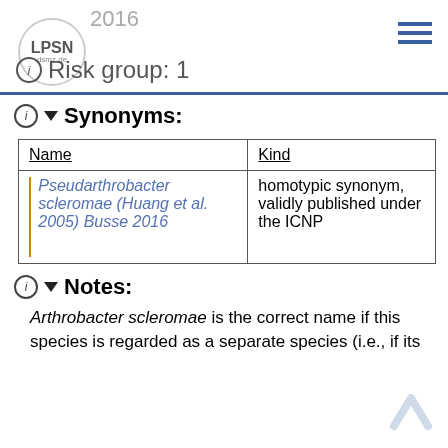2016 | Risk group: 1
Synonyms:
| Name | Kind |
| --- | --- |
| Pseudarthrobacter scleromae (Huang et al. 2005) Busse 2016 | homotypic synonym, validly published under the ICNP |
Notes:
Arthrobacter scleromae is the correct name if this species is regarded as a separate species (i.e., if its